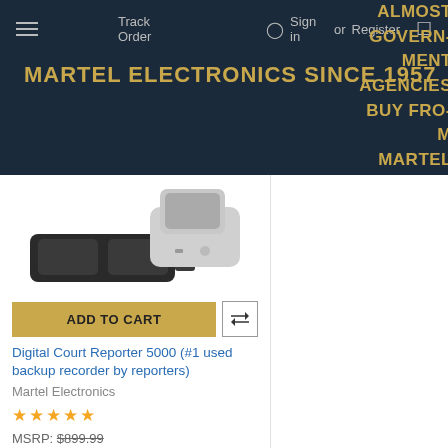MARTEL ELECTRONICS SINCE 1957 | Track Order | Sign in or Register | ALMOST GOVERNMENT AGENCIES BUY FROM MARTEL
[Figure (photo): Product image of Digital Court Reporter 5000 device with docking station and foot pedal]
ADD TO CART
Digital Court Reporter 5000 (#1 used backup recorder by reporters)
Martel Electronics
★★★★★
MSRP: $899.99
Now: $549.99   Was: $699.99
1491